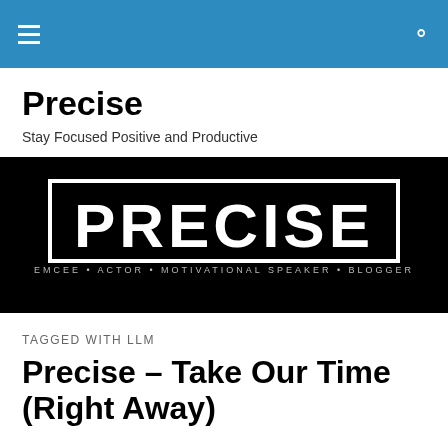Navigation bar with menu and search icons
Precise
Stay Focused Positive and Productive
[Figure (logo): Black banner with bold white text 'PRECISE' and subtitle 'EMCEE - ACTOR - MOTIVATIONAL SPEAKER - BLOGGER']
TAGGED WITH LLM
Precise – Take Our Time (Right Away)